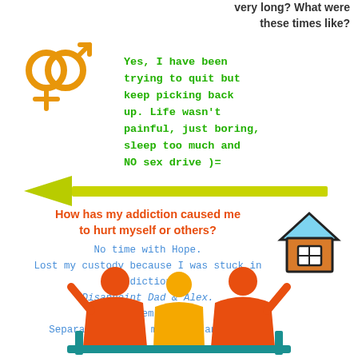very long? What were these times like?
[Figure (illustration): Gender symbols icon (male and female combined, orange color)]
Yes, I have been trying to quit but keep picking back up. Life wasn't painful, just boring, sleep too much and NO sex drive )=
[Figure (illustration): Green arrow pointing left]
How has my addiction caused me to hurt myself or others?
No time with Hope.
Lost my custody because I was stuck in addiction.
Disappoint Dad & Alex.
Let them down.
Separation hurts my girls and me.
[Figure (illustration): House icon with blue roof and orange walls]
[Figure (illustration): Three people figures (orange, yellow, orange) with arms raised, standing behind a teal fence/rail]